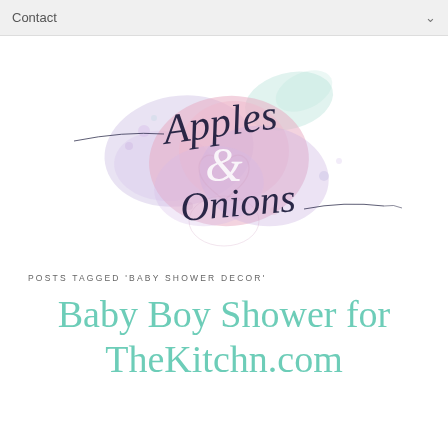Contact
[Figure (logo): Apples & Onions blog logo: watercolor splashes in pink, purple, and mint with cursive script text reading 'Apples & Onions']
POSTS TAGGED 'BABY SHOWER DECOR'
Baby Boy Shower for TheKitchn.com